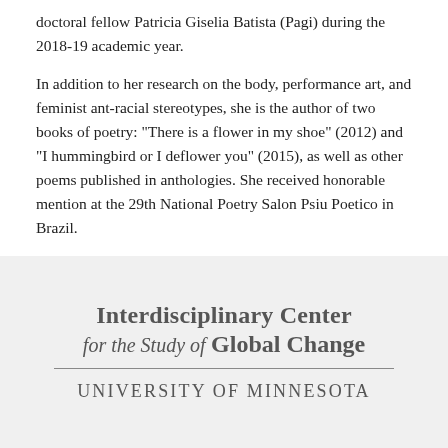doctoral fellow Patricia Giselia Batista (Pagi) during the 2018-19 academic year.

In addition to her research on the body, performance art, and feminist ant-racial stereotypes, she is the author of two books of poetry: "There is a flower in my shoe" (2012) and "I hummingbird or I deflower you" (2015), as well as other poems published in anthologies. She received honorable mention at the 29th National Poetry Salon Psiu Poetico in Brazil.
[Figure (logo): Interdisciplinary Center for the Study of Global Change, University of Minnesota logo]